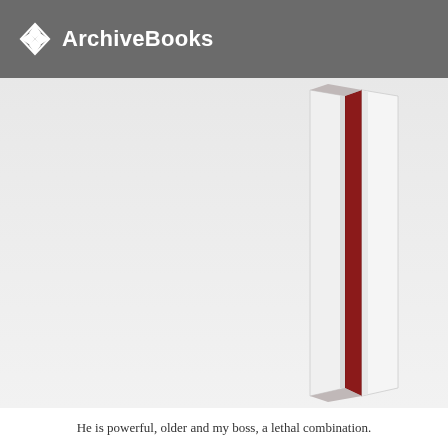ArchiveBooks
[Figure (illustration): A book standing upright shown from a slight angle, with white pages and a dark red spine visible, rendered as a 3D illustration against a light grey background.]
He is powerful, older and my boss, a lethal combination.